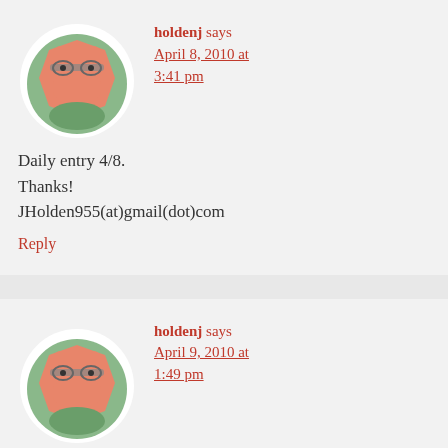[Figure (illustration): Avatar of user holdenj — a cartoon grumpy face on green octagon background inside a white circle]
holdenj says April 8, 2010 at 3:41 pm
Daily entry 4/8. Thanks! JHolden955(at)gmail(dot)com
Reply
[Figure (illustration): Avatar of user holdenj — a cartoon grumpy face on green octagon background inside a white circle (partial, bottom of page)]
holdenj says April 9, 2010 at 1:49 pm